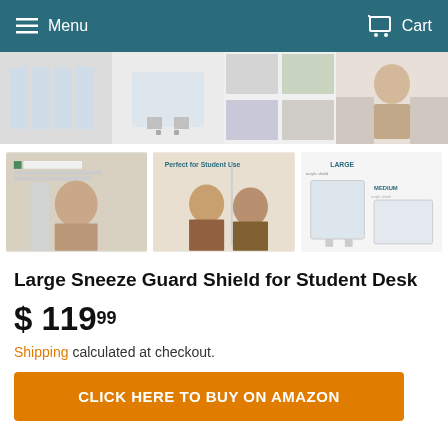Menu | Cart
[Figure (photo): Four product thumbnail images of sneeze guard shields for student desks - top row showing acrylic dividers, transparent shields, and classroom usage photos]
[Figure (photo): Three product images - library teacher behind shield, students at desks with dividers, size comparison diagram showing Large and Medium options]
Large Sneeze Guard Shield for Student Desk
$ 119.99
Shipping calculated at checkout.
CLICK HERE TO BUY ON AMAZON